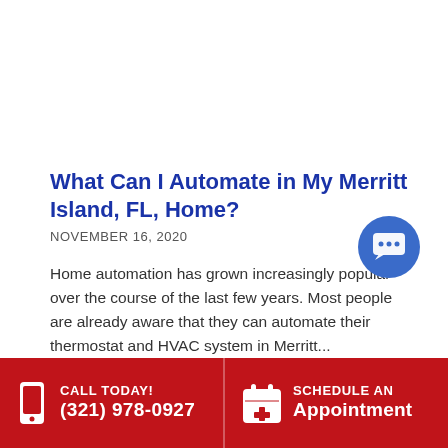What Can I Automate in My Merritt Island, FL, Home?
NOVEMBER 16, 2020
Home automation has grown increasingly popular over the course of the last few years. Most people are already aware that they can automate their thermostat and HVAC system in Merritt...
Read More
[Figure (illustration): Blue circular chat/message button icon in bottom-right area]
CALL TODAY! (321) 978-0927   SCHEDULE AN Appointment